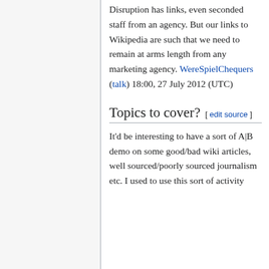Disruption has links, even seconded staff from an agency. But our links to Wikipedia are such that we need to remain at arms length from any marketing agency. WereSpielChequers (talk) 18:00, 27 July 2012 (UTC)
Topics to cover? [edit source]
It'd be interesting to have a sort of A|B demo on some good/bad wiki articles, well sourced/poorly sourced journalism etc. I used to use this sort of activity